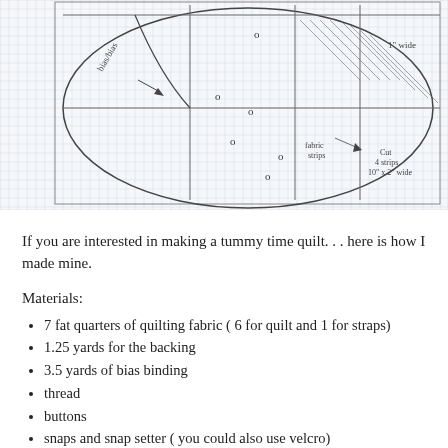[Figure (illustration): Hand-drawn diagram on graph paper showing a circular/oval quilt pattern with sections, grid lines, annotations including 'bias/bias', 'o' markers, '1" wide', 'fabric strips', 'Cut 4 strips 10" x 2" wide' labels]
If you are interested in making a tummy time quilt. . . here is how I made mine.
Materials:
7 fat quarters of quilting fabric ( 6 for quilt and 1 for straps)
1.25 yards for the backing
3.5 yards of bias binding
thread
buttons
snaps and snap setter ( you could also use velcro)